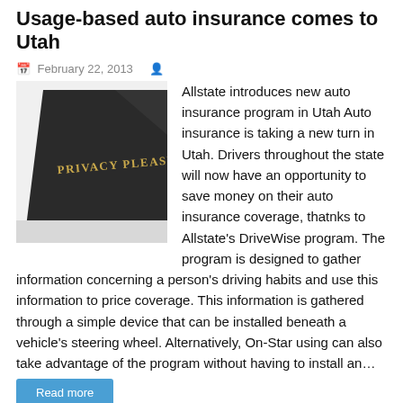Usage-based auto insurance comes to Utah
February 22, 2013
[Figure (photo): Close-up photo of a dark card with gold text reading 'PRIVACY PLEASE' against a light background.]
Allstate introduces new auto insurance program in Utah Auto insurance is taking a new turn in Utah. Drivers throughout the state will now have an opportunity to save money on their auto insurance coverage, thatnks to Allstate's DriveWise program. The program is designed to gather information concerning a person's driving habits and use this information to price coverage. This information is gathered through a simple device that can be installed beneath a vehicle's steering wheel. Alternatively, On-Star using can also take advantage of the program without having to install an…